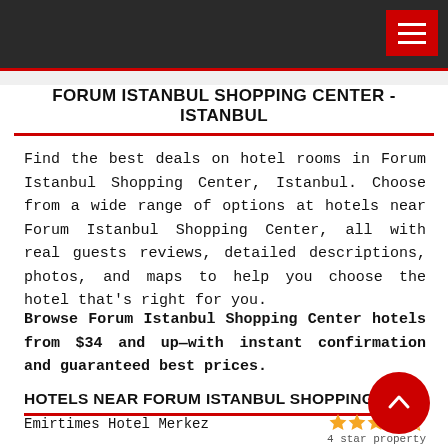Navigation bar with hamburger menu
FORUM ISTANBUL SHOPPING CENTER - ISTANBUL
Find the best deals on hotel rooms in Forum Istanbul Shopping Center, Istanbul. Choose from a wide range of options at hotels near Forum Istanbul Shopping Center, all with real guests reviews, detailed descriptions, photos, and maps to help you choose the hotel that's right for you.
Browse Forum Istanbul Shopping Center hotels from $34 and up—with instant confirmation and guaranteed best prices.
HOTELS NEAR FORUM ISTANBUL SHOPPING CE...
Emirtimes Hotel Merkez
4 star property